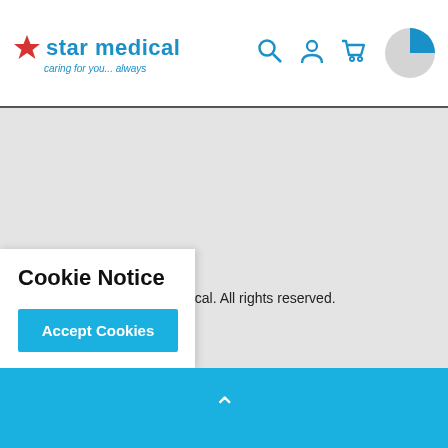star medical — caring for you... always
Copyright 2022 Star Medical. All rights reserved.
Shipping & Returns
Terms
Privacy
Contact
Cookie Notice
Accept Cookies